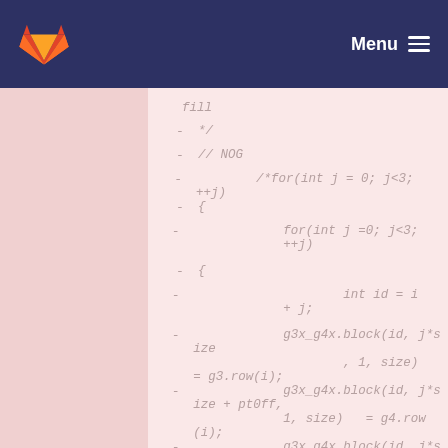Menu
[Figure (screenshot): GitLab code diff view showing deleted lines 227-237 of C++ source code with line numbers, diff markers (-), and pink background indicating removed lines. Code includes a commented-out nested for-loop block manipulating g3x_g4x matrix block operations.]